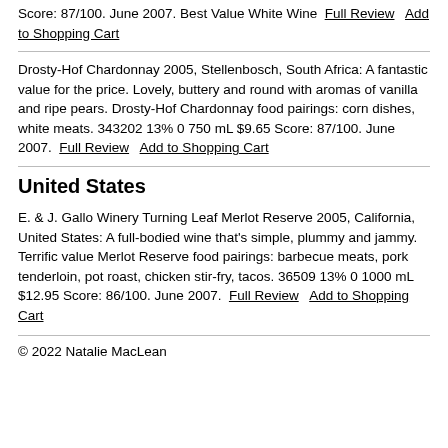Score: 87/100. June 2007. Best Value White Wine  Full Review   Add to Shopping Cart
Drosty-Hof Chardonnay 2005, Stellenbosch, South Africa: A fantastic value for the price. Lovely, buttery and round with aromas of vanilla and ripe pears. Drosty-Hof Chardonnay food pairings: corn dishes, white meats. 343202 13% 0 750 mL $9.65 Score: 87/100. June 2007.  Full Review   Add to Shopping Cart
United States
E. & J. Gallo Winery Turning Leaf Merlot Reserve 2005, California, United States: A full-bodied wine that's simple, plummy and jammy. Terrific value Merlot Reserve food pairings: barbecue meats, pork tenderloin, pot roast, chicken stir-fry, tacos. 36509 13% 0 1000 mL $12.95 Score: 86/100. June 2007.  Full Review   Add to Shopping Cart
© 2022 Natalie MacLean